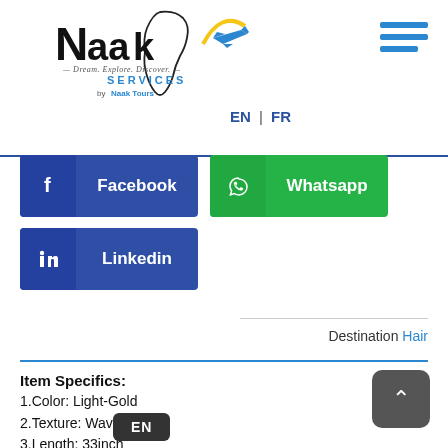[Figure (logo): Naak Services logo with airplane and Africa outline, tagline Dream. Explore. Discover., SERVICES by Naak Tours]
[Figure (other): Hamburger menu icon (three blue horizontal bars)]
EN | FR
[Figure (other): Facebook social share button (dark blue)]
[Figure (other): Whatsapp social share button (green)]
[Figure (other): Linkedin social share button (dark blue)]
Destination Hair
Item Specifics:
1.Color: Light-Gold
2.Texture: Wavy
3.Length: 33inch
4.Hair: Synthetic
5.Style: Wig